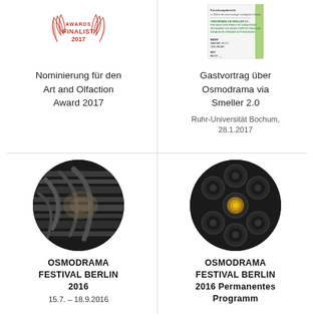[Figure (illustration): Art and Olfaction Awards Finalist 2017 badge with wings design in red/gold]
[Figure (illustration): Small green-accented flyer/poster for Gastvortrag about Osmodrama via Smeller 2.0]
Nominierung für den Art and Olfaction Award 2017
Gastvortrag über Osmodrama via Smeller 2.0
Ruhr-Universität Bochum, 28.1.2017
[Figure (photo): Circular photo of metallic tubes/pipes in dark tones - Osmodrama Festival Berlin 2016]
[Figure (photo): Circular photo of dark cylindrical nozzles/tubes from above - Osmodrama Festival Berlin 2016 Permanentes Programm]
OSMODRAMA FESTIVAL BERLIN 2016
15.7. – 18.9.2016
OSMODRAMA FESTIVAL BERLIN 2016 Permanentes Programm